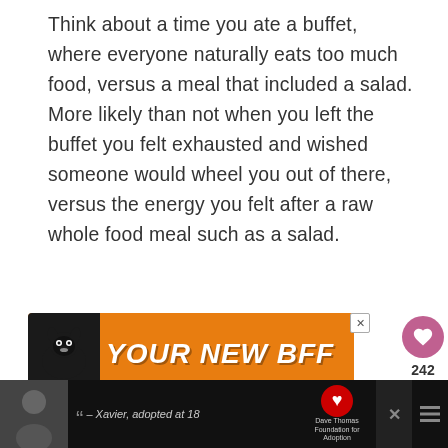Think about a time you ate a buffet, where everyone naturally eats too much food, versus a meal that included a salad. More likely than not when you left the buffet you felt exhausted and wished someone would wheel you out of there, versus the energy you felt after a raw whole food meal such as a salad.
[Figure (screenshot): Orange advertisement banner with a dog silhouette and text YOUR NEW BFF]
[Figure (screenshot): Bottom advertisement banner showing Xavier adopted at 18 with Dave Thomas Foundation for Adoption logo]
242
WHAT'S NEXT → Simple Ways to Increase...